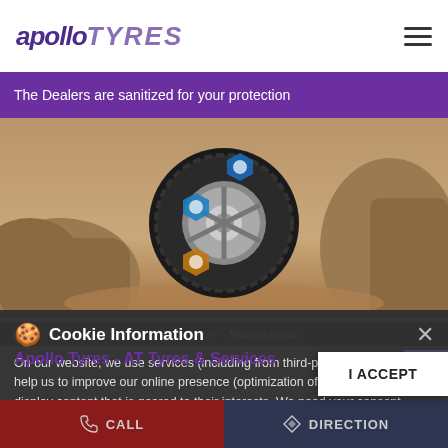apollo TYRES
The Dealers are sanitized for your protection
[Figure (photo): Apollo Tyres hero image showing a tyre in a rocky desert landscape with hexagonal feature icons]
Dealers near me > Maharashtra > Mumbai > Shastri Nagar
Cookie Information
On our website, we use services (including from third-party providers) that help us to improve our online presence (optimization of website) and to display content that is geared to their interests. We need your consent before being able to use these services.
Apollo Tyres - AT Tyres & Services
Shop No 1, Rohini Building No 10, Link Road
I ACCEPT
CALL  DIRECTION